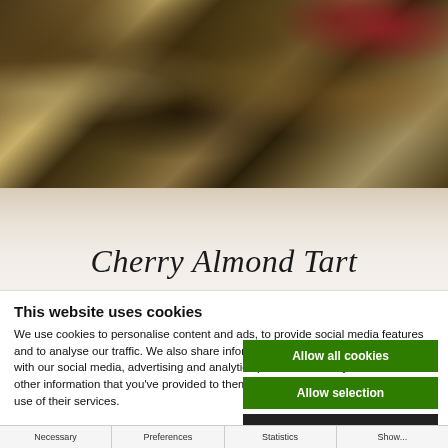[Figure (photo): Close-up photo of a cherry almond tart with sliced almonds and dark cherries on top, and a single fresh cherry with stem on the right side against a white background]
Cherry Almond Tart
This website uses cookies
We use cookies to personalise content and ads, to provide social media features and to analyse our traffic. We also share information about your use of our site with our social media, advertising and analytics partners who may combine it with other information that you've provided to them or that they've collected from your use of their services.
Allow all cookies
Allow selection
Use necessary cookies only